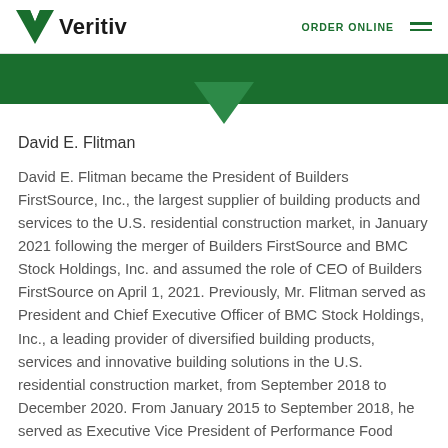Veritiv | ORDER ONLINE
David E. Flitman
David E. Flitman became the President of Builders FirstSource, Inc., the largest supplier of building products and services to the U.S. residential construction market, in January 2021 following the merger of Builders FirstSource and BMC Stock Holdings, Inc. and assumed the role of CEO of Builders FirstSource on April 1, 2021. Previously, Mr. Flitman served as President and Chief Executive Officer of BMC Stock Holdings, Inc., a leading provider of diversified building products, services and innovative building solutions in the U.S. residential construction market, from September 2018 to December 2020. From January 2015 to September 2018, he served as Executive Vice President of Performance Food Group